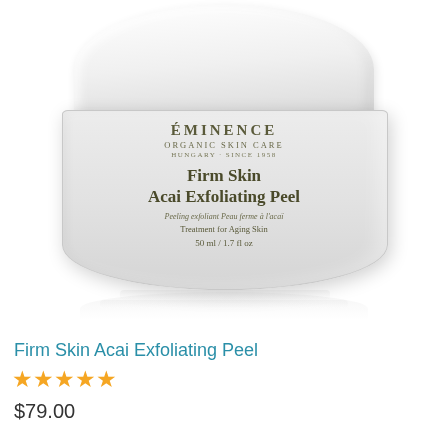[Figure (photo): A cylindrical glass jar of Éminence Organic Skin Care product — Firm Skin Acai Exfoliating Peel, 50 ml / 1.7 fl oz, Treatment for Aging Skin — with a white rounded lid, gray frosted glass body, and product label showing brand name, product name in serif typography, subtitle in French and English, and volume. A faint reflection appears below the jar on a white background.]
Firm Skin Acai Exfoliating Peel
★★★★★
$79.00